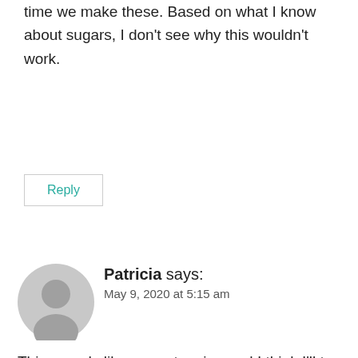time we make these. Based on what I know about sugars, I don't see why this wouldn't work.
Reply
Patricia says:
May 9, 2020 at 5:15 am
This sounds like a great recipe and I think I'll try it. However, it was very difficult to even read your blog because of all the ads. Your pictures of how to make were great but you stopped